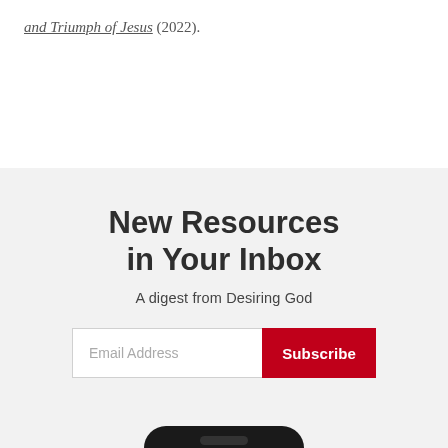and Triumph of Jesus (2022).
New Resources in Your Inbox
A digest from Desiring God
Email Address  Subscribe